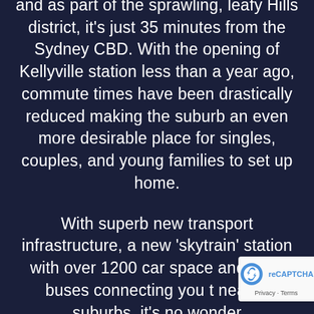and as part of the sprawling, leafy Hills district, it's just 35 minutes from the Sydney CBD. With the opening of Kellyville station less than a year ago, commute times have been drastically reduced making the suburb an even more desirable place for singles, couples, and young families to set up home.
With superb new transport infrastructure, a new 'skytrain' station with over 1200 car spaces and local buses connecting you to nearby suburbs, it's no wonder
[Figure (other): reCAPTCHA badge showing the reCAPTCHA logo and 'Privacy - Terms' text in the bottom right corner]